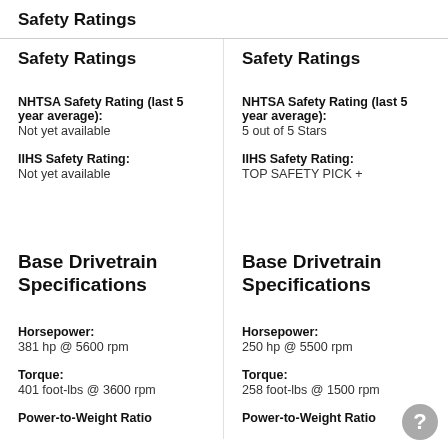Safety Ratings
Safety Ratings
Safety Ratings
NHTSA Safety Rating (last 5 year average):
Not yet available
NHTSA Safety Rating (last 5 year average):
5 out of 5 Stars
IIHS Safety Rating:
Not yet available
IIHS Safety Rating:
TOP SAFETY PICK +
Base Drivetrain Specifications
Base Drivetrain Specifications
Horsepower:
381 hp @ 5600 rpm
Horsepower:
250 hp @ 5500 rpm
Torque:
401 foot-lbs @ 3600 rpm
Torque:
258 foot-lbs @ 1500 rpm
Power-to-Weight Ratio
Power-to-Weight Ratio